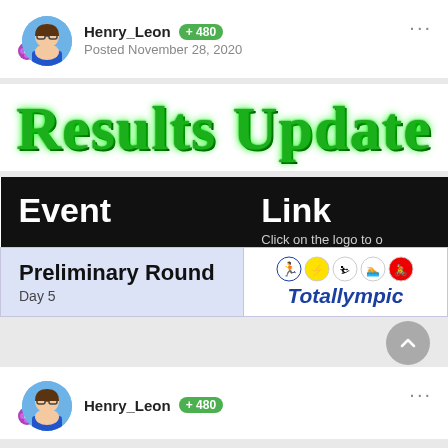Henry_Leon +480 Posted November 28, 2020
Results Update
| Event | Link
Click on the logo to open |
| --- | --- |
| Preliminary Round
Day 5 | Totallympics [sport icons] |
Henry_Leon +480